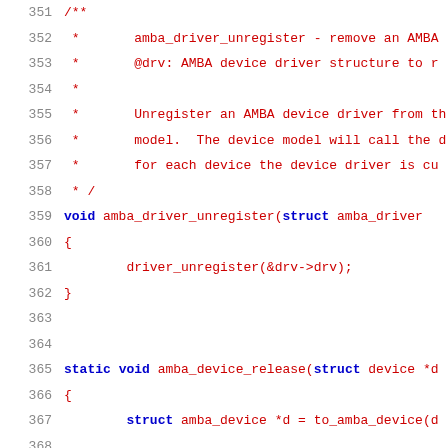[Figure (screenshot): Source code snippet showing C kernel code for amba_driver_unregister and amba_device_release functions, lines 351-371, with line numbers in grey and code in dark red/blue monospace font on white background.]